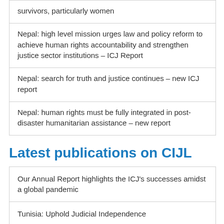survivors, particularly women
Nepal: high level mission urges law and policy reform to achieve human rights accountability and strengthen justice sector institutions – ICJ Report
Nepal: search for truth and justice continues – new ICJ report
Nepal: human rights must be fully integrated in post-disaster humanitarian assistance – new report
Latest publications on CIJL
Our Annual Report highlights the ICJ's successes amidst a global pandemic
Tunisia: Uphold Judicial Independence
Venezuela: politicized judiciary tool of repression rather than defender of rule of law
New Annual Report tells you what the ICJ did in 2019 to protect human rights